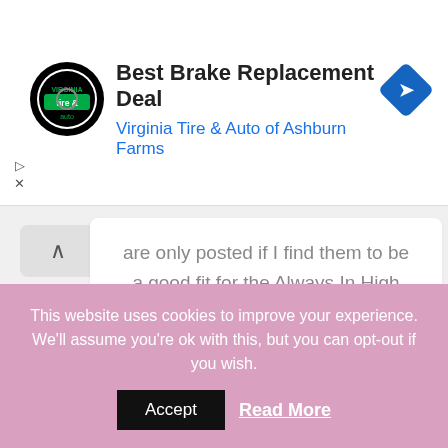[Figure (screenshot): Ad banner: Virginia Tire & Auto logo (circular black badge with green 'tire & auto' text), title 'Best Brake Replacement Deal', subtitle 'Virginia Tire & Auto of Ashburn Farms', blue diamond navigation icon on right. Small play and X controls at bottom-left.]
are only posted if I find them to be a good fit for the Always In High Heels brand. Any sponsored giveaways or posts will be noted as such.
This website uses cookies to improve your experience. We'll assume you're ok with this, but you can opt-out if you wish.
Accept
Read More